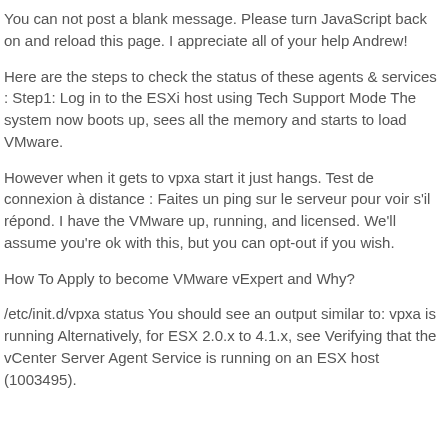You can not post a blank message. Please turn JavaScript back on and reload this page. I appreciate all of your help Andrew!
Here are the steps to check the status of these agents & services : Step1: Log in to the ESXi host using Tech Support Mode The system now boots up, sees all the memory and starts to load VMware.
However when it gets to vpxa start it just hangs. Test de connexion à distance : Faites un ping sur le serveur pour voir s'il répond. I have the VMware up, running, and licensed. We'll assume you're ok with this, but you can opt-out if you wish.
How To Apply to become VMware vExpert and Why?
/etc/init.d/vpxa status You should see an output similar to: vpxa is running Alternatively, for ESX 2.0.x to 4.1.x, see Verifying that the vCenter Server Agent Service is running on an ESX host (1003495).